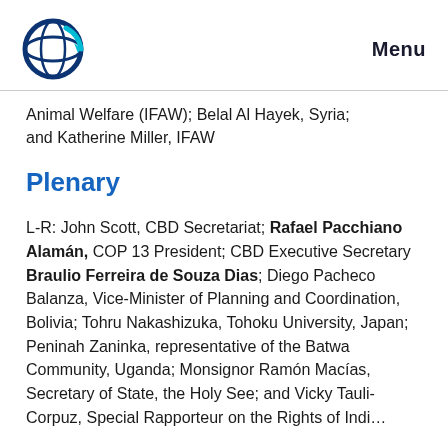Menu
Animal Welfare (IFAW); Belal Al Hayek, Syria; and Katherine Miller, IFAW
Plenary
L-R: John Scott, CBD Secretariat; Rafael Pacchiano Alamán, COP 13 President; CBD Executive Secretary Braulio Ferreira de Souza Dias; Diego Pacheco Balanza, Vice-Minister of Planning and Coordination, Bolivia; Tohru Nakashizuka, Tohoku University, Japan; Peninah Zaninka, representative of the Batwa Community, Uganda; Monsignor Ramón Macías, Secretary of State, the Holy See; and Vicky Tauli-Corpuz, Special Rapporteur on the Rights of Indi...